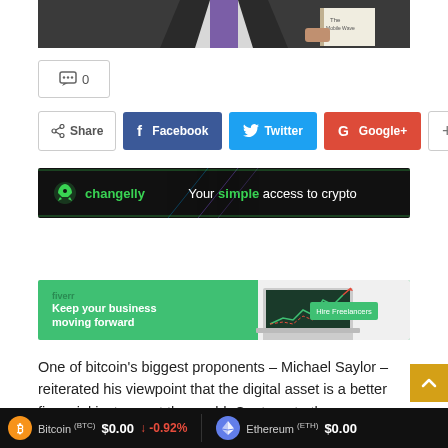[Figure (photo): Cropped photo of a man in dark suit with purple tie holding a book, partial view]
[Figure (other): Comment count button showing 0 comments]
[Figure (other): Social share buttons: Share, Facebook, Twitter, Google+, and plus button]
[Figure (other): Changelly banner ad: Your simple access to crypto]
[Figure (other): Fiverr banner ad: Keep your business moving forward. Hire Freelancers.]
One of bitcoin’s biggest proponents – Michael Saylor – reiterated his viewpoint that the digital asset is a better financial instrument than gold. Contrary to the
Bitcoin (BTC) $0.00 ↓ -0.92% | Ethereum (ETH) $0.00